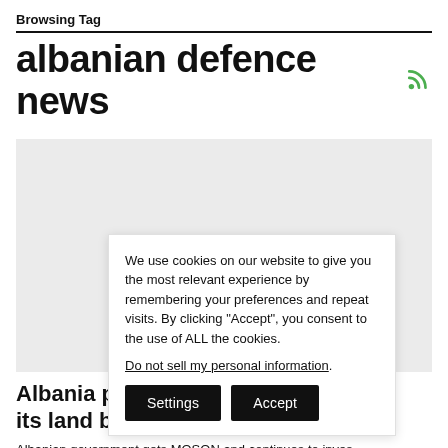Browsing Tag
albanian defence news
[Figure (screenshot): Grey placeholder image card for an article thumbnail]
We use cookies on our website to give you the most relevant experience by remembering your preferences and repeat visits. By clicking “Accept”, you consent to the use of ALL the cookies.
Do not sell my personal information.
Settings  Accept
Albania purch… its land borde…
Albanian government gets MOSON and continues to inves…